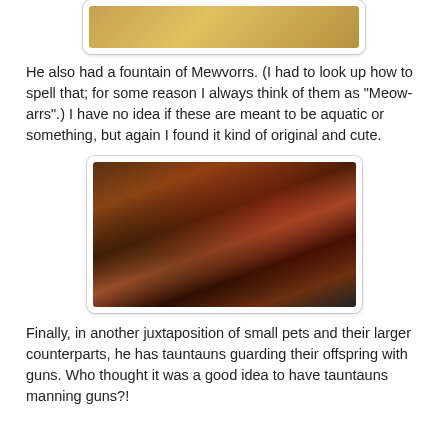[Figure (screenshot): Partial top image showing a decorative golden/amber circular element, likely a game screenshot cropped at top.]
He also had a fountain of Mewvorrs. (I had to look up how to spell that; for some reason I always think of them as "Meow-arrs".) I have no idea if these are meant to be aquatic or something, but again I found it kind of original and cute.
[Figure (screenshot): A screenshot from an online game (appears to be Star Wars: The Old Republic) showing tauntauns and a player character in a large ornate indoor area with red and gold decor, other creatures and players visible in the background.]
Finally, in another juxtaposition of small pets and their larger counterparts, he has tauntauns guarding their offspring with guns. Who thought it was a good idea to have tauntauns manning guns?!